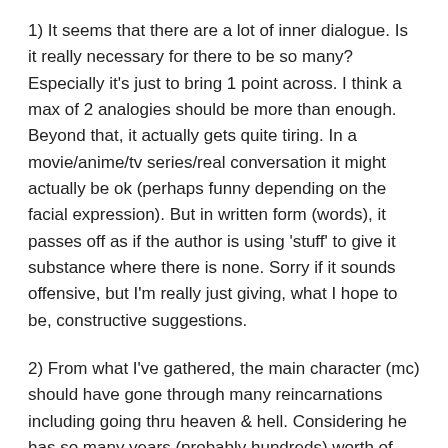1) It seems that there are a lot of inner dialogue. Is it really necessary for there to be so many? Especially it's just to bring 1 point across. I think a max of 2 analogies should be more than enough. Beyond that, it actually gets quite tiring. In a movie/anime/tv series/real conversation it might actually be ok (perhaps funny depending on the facial expression). But in written form (words), it passes off as if the author is using 'stuff' to give it substance where there is none. Sorry if it sounds offensive, but I'm really just giving, what I hope to be, constructive suggestions.
2) From what I've gathered, the main character (mc) should have gone through many reincarnations including going thru heaven & hell. Considering he has so many years (probably hundreds) worth of lifetime and experiences, why is his inner dialogue (it shows his way thinking) so immature? It's pretty much on the level of a typical anime 3rd yr middle sch to 1st yr high sch student (age 15-16). It would be a more plausible if you're able to show that his mature thoughts (thru his inner